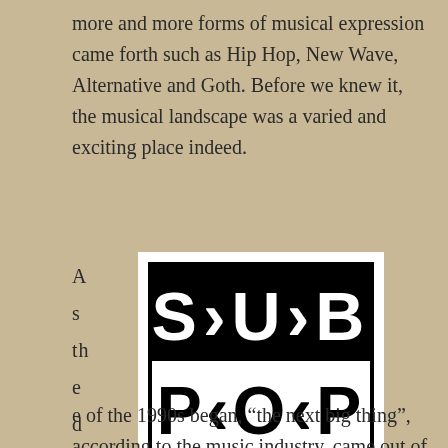more and more forms of musical expression came forth such as Hip Hop, New Wave, Alternative and Goth. Before we knew it, the musical landscape was a varied and exciting place indeed.
As the decade
[Figure (logo): Sub Pop Records logo — black rectangle with white bold stylized text 'S·U·B' on top half and white background with black bold text 'P·O·P' on bottom half, surrounded by white border]
e of the 1990s began, "the next big thing", according to the music industry, came out of Seattle, Washington,